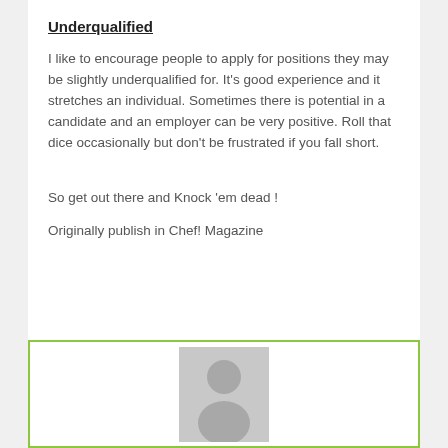Underqualified
I like to encourage people to apply for positions they may be slightly underqualified for. It’s good experience and it stretches an individual. Sometimes there is potential in a candidate and an employer can be very positive. Roll that dice occasionally but don’t be frustrated if you fall short.
So get out there and Knock ‘em dead !
Originally publish in Chef! Magazine
[Figure (photo): Default profile avatar placeholder image — grey silhouette of a person on a grey background, inside a green-bordered box]